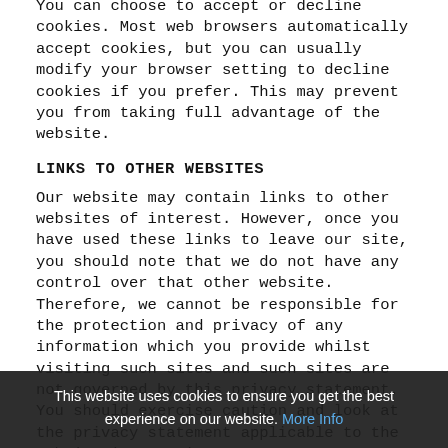You can choose to accept or decline cookies. Most web browsers automatically accept cookies, but you can usually modify your browser setting to decline cookies if you prefer. This may prevent you from taking full advantage of the website.
LINKS TO OTHER WEBSITES
Our website may contain links to other websites of interest. However, once you have used these links to leave our site, you should note that we do not have any control over that other website. Therefore, we cannot be responsible for the protection and privacy of any information which you provide whilst visiting such sites and such sites are not governed by this privacy statement. You should exercise caution and look at the privacy statement applicable to the website in question.
CONTROLLING YOUR PERSONAL INFORMATION
You may choose to restrict the collection or use of
This website uses cookies to ensure you get the best experience on our website. More Info